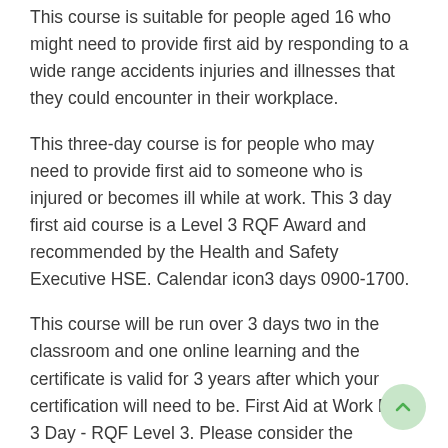This course is suitable for people aged 16 who might need to provide first aid by responding to a wide range accidents injuries and illnesses that they could encounter in their workplace.
This three-day course is for people who may need to provide first aid to someone who is injured or becomes ill while at work. This 3 day first aid course is a Level 3 RQF Award and recommended by the Health and Safety Executive HSE. Calendar icon3 days 0900-1700.
This course will be run over 3 days two in the classroom and one online learning and the certificate is valid for 3 years after which your certification will need to be. First Aid at Work FAW 3 Day - RQF Level 3. Please consider the following rules for attendance.